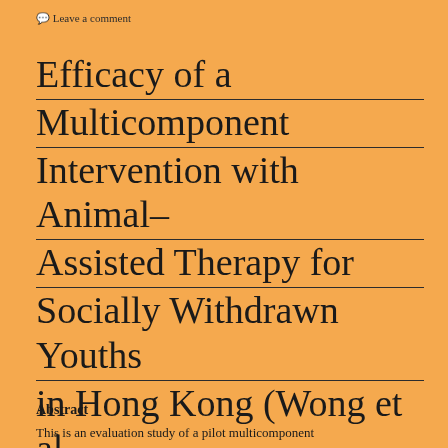Leave a comment
Efficacy of a Multicomponent Intervention with Animal–Assisted Therapy for Socially Withdrawn Youths in Hong Kong (Wong et al. 2017)
Abstract
This is an evaluation study of a pilot multicomponent